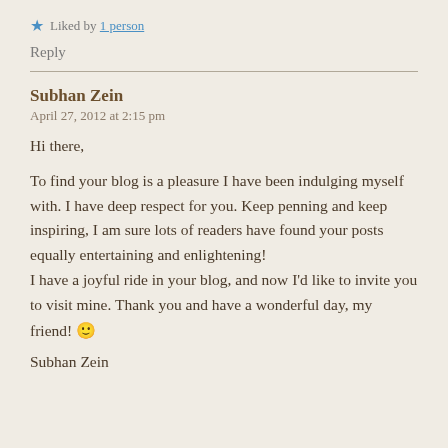★ Liked by 1 person
Reply
Subhan Zein
April 27, 2012 at 2:15 pm
Hi there,
To find your blog is a pleasure I have been indulging myself with. I have deep respect for you. Keep penning and keep inspiring, I am sure lots of readers have found your posts equally entertaining and enlightening! I have a joyful ride in your blog, and now I'd like to invite you to visit mine. Thank you and have a wonderful day, my friend! 🙂
Subhan Zein